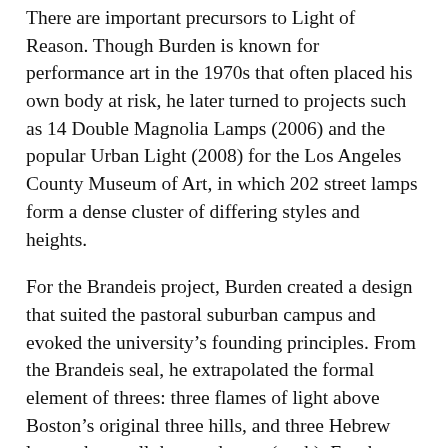There are important precursors to Light of Reason. Though Burden is known for performance art in the 1970s that often placed his own body at risk, he later turned to projects such as 14 Double Magnolia Lamps (2006) and the popular Urban Light (2008) for the Los Angeles County Museum of Art, in which 202 street lamps form a dense cluster of differing styles and heights.
For the Brandeis project, Burden created a design that suited the pastoral suburban campus and evoked the university's founding principles. From the Brandeis seal, he extrapolated the formal element of threes: three flames of light above Boston's original three hills, and three Hebrew letters that spell the word emet (truth). For the artwork's title, Burden turned to the words of Justice Louis Brandeis: “If we would guide by the light of reason, we must let our minds be bold.”